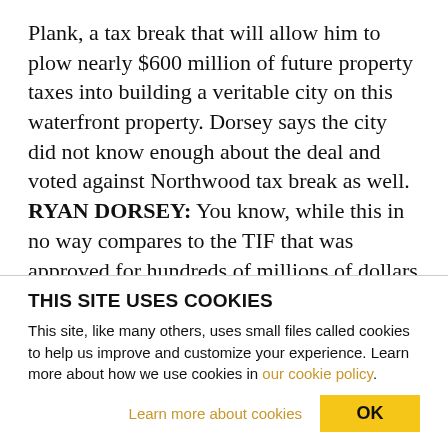Plank, a tax break that will allow him to plow nearly $600 million of future property taxes into building a veritable city on this waterfront property. Dorsey says the city did not know enough about the deal and voted against Northwood tax break as well. RYAN DORSEY: You know, while this in no way compares to the TIF that was approved for hundreds of millions of dollars for the redevelopment of Port Covington, in a lot of people's minds, there exists a principle to the matter. In that case, where an outside assessment showed that the financial analysis of
THIS SITE USES COOKIES
This site, like many others, uses small files called cookies to help us improve and customize your experience. Learn more about how we use cookies in our cookie policy.
Learn more about cookies   OK